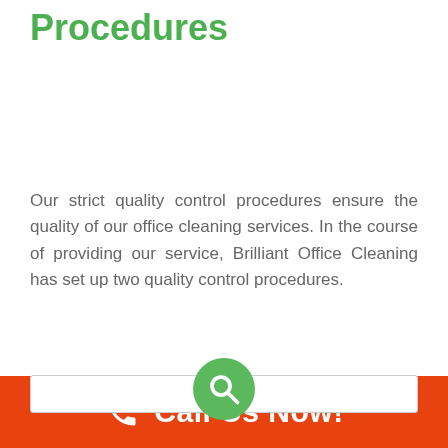Procedures
Our strict quality control procedures ensure the quality of our office cleaning services. In the course of providing our service, Brilliant Office Cleaning has set up two quality control procedures.
[Figure (other): Green circular search button icon]
Call Us Now!